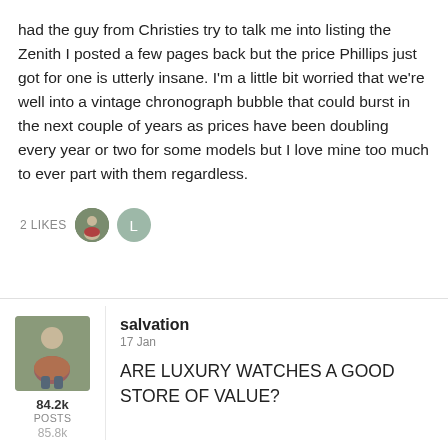had the guy from Christies try to talk me into listing the Zenith I posted a few pages back but the price Phillips just got for one is utterly insane. I'm a little bit worried that we're well into a vintage chronograph bubble that could burst in the next couple of years as prices have been doubling every year or two for some models but I love mine too much to ever part with them regardless.
2 LIKES
salvation
17 Jan
84.2k
POSTS
ARE LUXURY WATCHES A GOOD STORE OF VALUE?